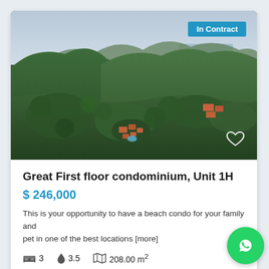[Figure (photo): Aerial drone photo of a tropical hillside with green mountains, valley below showing a condominium complex with red-tiled roofs and a pool surrounded by dense jungle foliage, sea visible on the horizon under overcast sky.]
Great First floor condominium, Unit 1H
$ 246,000
This is your opportunity to have a beach condo for your family and pet in one of the best locations [more]
3   3.5   208.00 m²